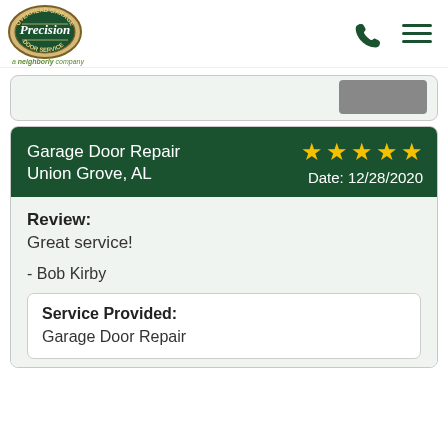[Figure (logo): Precision Door Service logo - circular badge with overhead garage door service text, green and tan coloring, 'a neighborly company' tagline below]
Garage Door Repair
Union Grove, AL
★★★★★
Date: 12/28/2020
Review:
Great service!

- Bob Kirby
Service Provided:
Garage Door Repair